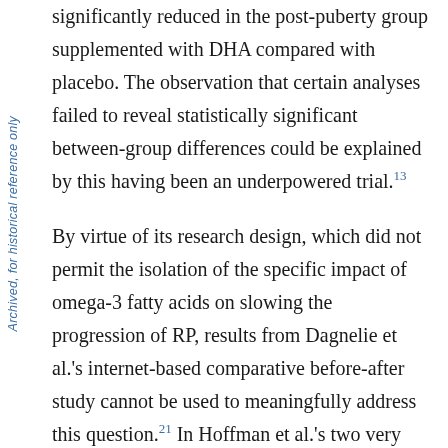significantly reduced in the post-puberty group supplemented with DHA compared with placebo. The observation that certain analyses failed to reveal statistically significant between-group differences could be explained by this having been an underpowered trial.13
By virtue of its research design, which did not permit the isolation of the specific impact of omega-3 fatty acids on slowing the progression of RP, results from Dagnelie et al.'s internet-based comparative before-after study cannot be used to meaningfully address this question.21 In Hoffman et al.'s two very small noncomparative
Archived, for historical reference only